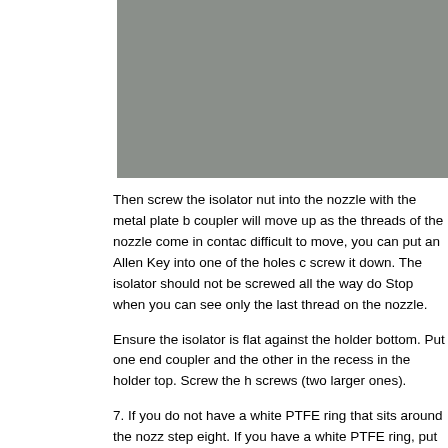[Figure (photo): Photo of a nozzle/hotend assembly component, showing a close-up of the isolator nut and nozzle hardware. Image is partially cropped on right side.]
Then screw the isolator nut into the nozzle with the metal plate b... coupler will move up as the threads of the nozzle come in contac... difficult to move, you can put an Allen Key into one of the holes c... screw it down. The isolator should not be screwed all the way do... Stop when you can see only the last thread on the nozzle.

Ensure the isolator is flat against the holder bottom. Put one end... coupler and the other in the recess in the holder top. Screw the h... screws (two larger ones).
7. If you do not have a white PTFE ring that sits around the nozz... step eight. If you have a white PTFE ring, put this in place in the... fan shroud to the holder using the 4mm screws (4 smallest ones...